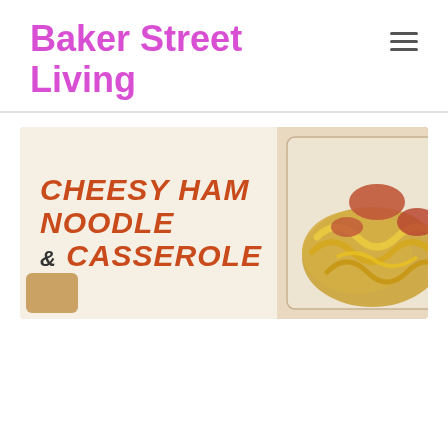Baker Street Living
[Figure (illustration): Banner image for 'Cheesy Ham Noodle Casserole' recipe post. Left side shows large orange-red hand-lettered text reading 'CHEESY HAM NOODLE & CASSEROLE' on a cream/beige background with decorative shapes. Right side shows a close-up photo of the casserole dish with noodles, ham, and cheese.]